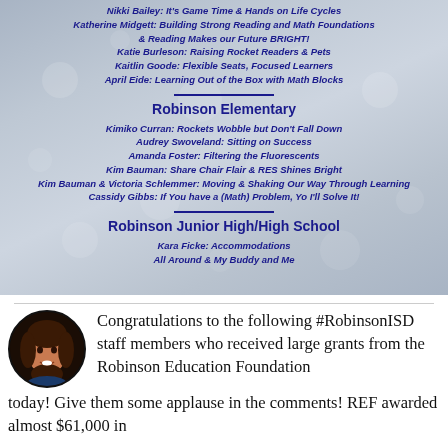[Figure (photo): Decorative bokeh/sparkle background image with school names and grant recipient lists in dark blue bold italic text]
Nikki Bailey: It's Game Time & Hands on Life Cycles
Katherine Midgett: Building Strong Reading and Math Foundations & Reading Makes our Future BRIGHT!
Katie Burleson: Raising Rocket Readers & Pets
Kaitlin Goode: Flexible Seats, Focused Learners
April Eide: Learning Out of the Box with Math Blocks
Robinson Elementary
Kimiko Curran: Rockets Wobble but Don't Fall Down
Audrey Swoveland: Sitting on Success
Amanda Foster: Filtering the Fluorescents
Kim Bauman: Share Chair Flair & RES Shines Bright
Kim Bauman & Victoria Schlemmer: Moving & Shaking Our Way Through Learning
Cassidy Gibbs: If You have a (Math) Problem, Yo I'll Solve It!
Robinson Junior High/High School
Kara Ficke: Accommodations All Around & My Buddy and Me
Congratulations to the following #RobinsonISD staff members who received large grants from the Robinson Education Foundation today! Give them some applause in the comments! REF awarded almost $61,000 in